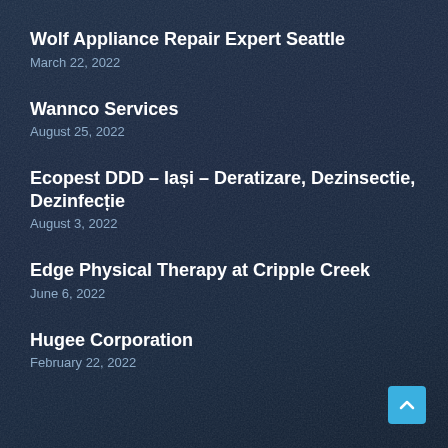Wolf Appliance Repair Expert Seattle
March 22, 2022
Wannco Services
August 25, 2022
Ecopest DDD – Iași – Deratizare, Dezinsectie, Dezinfecție
August 3, 2022
Edge Physical Therapy at Cripple Creek
June 6, 2022
Hugee Corporation
February 22, 2022